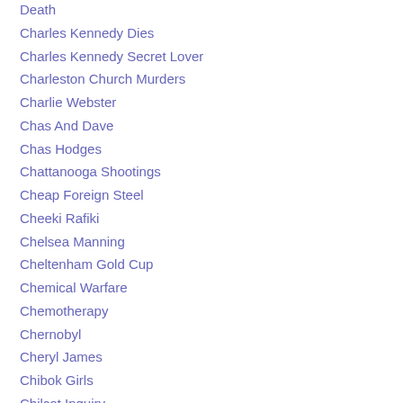Death
Charles Kennedy Dies
Charles Kennedy Secret Lover
Charleston Church Murders
Charlie Webster
Chas And Dave
Chas Hodges
Chattanooga Shootings
Cheap Foreign Steel
Cheeki Rafiki
Chelsea Manning
Cheltenham Gold Cup
Chemical Warfare
Chemotherapy
Chernobyl
Cheryl James
Chibok Girls
Chilcot Inquiry